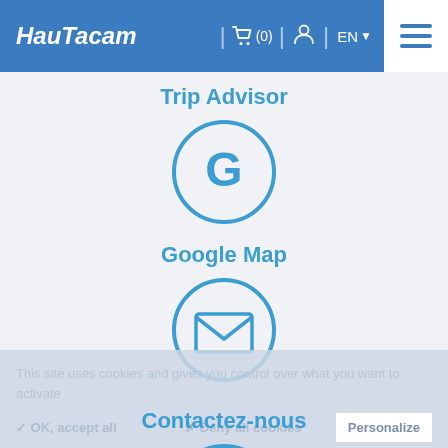HauTacam | (0) | EN | menu
Trip Advisor
[Figure (illustration): Circle icon with letter G (Google) in blue outline style]
Google Map
[Figure (illustration): Circle icon with envelope/mail symbol in blue outline style]
Contactez-nous
[Figure (illustration): Circle icon with webcam/camera symbol in blue outline style]
This site uses cookies and gives you control over what you want to activate
✓ OK, accept all   ✗ Deny all cookies   Personalize